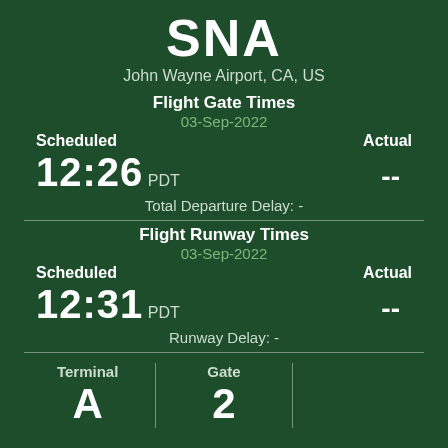SNA
John Wayne Airport, CA, US
Flight Gate Times
03-Sep-2022
Scheduled
Actual
12:26 PDT
--
Total Departure Delay: -
Flight Runway Times
03-Sep-2022
Scheduled
Actual
12:31 PDT
--
Runway Delay: -
Terminal A | Gate 2